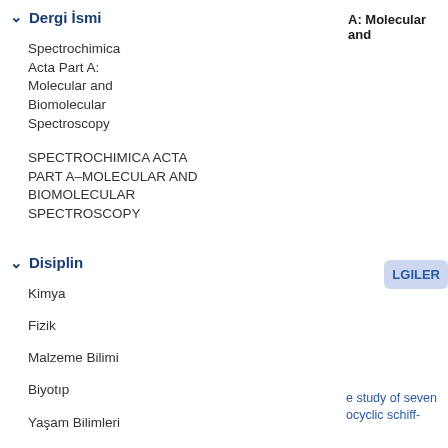∨ Dergi İsmi   Tümü
Spectrochimica Acta Part A: Molecular and Biomolecular Spectroscopy   (20.366)
SPECTROCHIMICA ACTA PART A–MOLECULAR AND BIOMOLECULAR SPECTROSCOPY   (92)
∨ Disiplin   Tümü
Kimya   (13.534)
Fizik   (7.848)
Malzeme Bilimi   (1.055)
Biyotıp   (661)
Yaşam Bilimleri   (277)
Çevre   (270)
Yer Bilimleri   (94)
A: Molecular and
LGILER
e study of seven
ocyclic schiff-